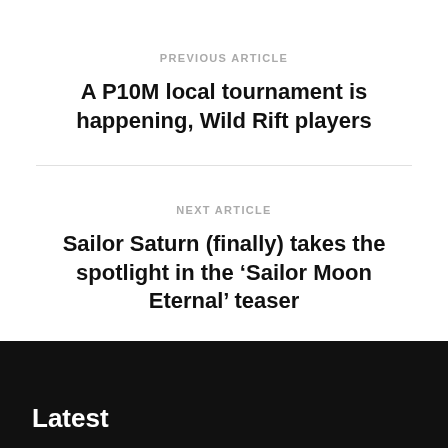PREVIOUS ARTICLE
A P10M local tournament is happening, Wild Rift players
NEXT ARTICLE
Sailor Saturn (finally) takes the spotlight in the ‘Sailor Moon Eternal’ teaser
Latest